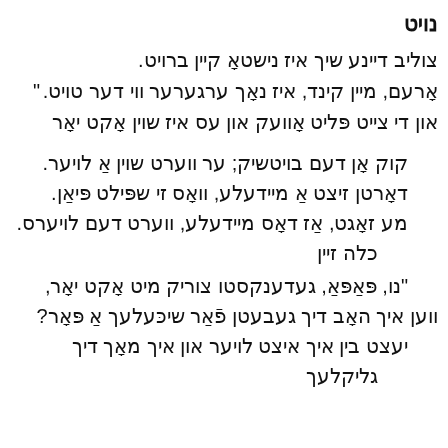נויט
צוליב דיינע שיך איז נישטאָ קיין ברויט.
אָרעם, מיין קינד, איז נאָך ערגערער ווי דער טויט."
און די צייט פּליט אָוועק און עס איז שוין אָקט יאָר
קוק אָן דעם בויטשיק; ער ווערט שוין אַ לויער.
דאָרטן זיצט אַ מיידעלע, וואָס זי שפּילט פּיאַן.
מע זאָגט, אַז דאָס מיידעלע, ווערט דעם לויערס
כלה זיין
"נו, פּאַפּאַ, געדענקסטו צוריק מיט אָקט יאָר,
ווען איך האָב דיך געבעטן פֿאַר שיכּעלעך אַ פּאָר?
יעצט בין איך איצט לויער און איך מאָך דיך
גליקלעך